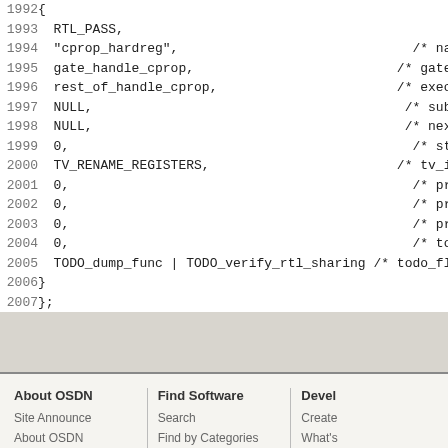Code block lines 1992-2007 showing C struct initialization with RTL_PASS, cprop_hardreg, gate_handle_cprop, rest_of_handle_cprop, NULL, TV_RENAME_REGISTERS, 0 values, and TODO_dump_func | TODO_verify_rtl_sharing
About OSDN: Site Announce, About OSDN, Privacy, Terms of Use, Advertise | Find Software: Search, Find by Categories, Download Ranking, Project Ranking | Devel: Create, What's, Recen, Cham, API | Copyright ©OS